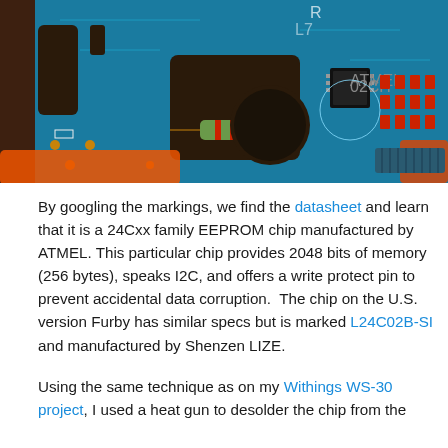[Figure (photo): Close-up photo of a blue PCB (printed circuit board) showing electronic components including a small IC chip, resistors (red), capacitors, and circuit traces. Tweezers or a tool in orange/red is touching the board.]
By googling the markings, we find the datasheet and learn that it is a 24Cxx family EEPROM chip manufactured by ATMEL. This particular chip provides 2048 bits of memory (256 bytes), speaks I2C, and offers a write protect pin to prevent accidental data corruption.  The chip on the U.S. version Furby has similar specs but is marked L24C02B-SI and manufactured by Shenzen LIZE.
Using the same technique as on my Withings WS-30 project, I used a heat gun to desolder the chip from the